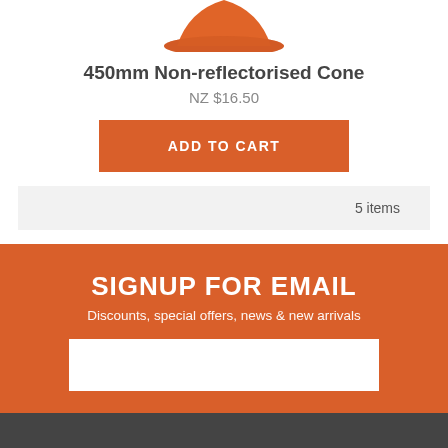[Figure (photo): Partial top view of an orange traffic cone]
450mm Non-reflectorised Cone
NZ $16.50
ADD TO CART
5 items
SIGNUP FOR EMAIL
Discounts, special offers, news & new arrivals